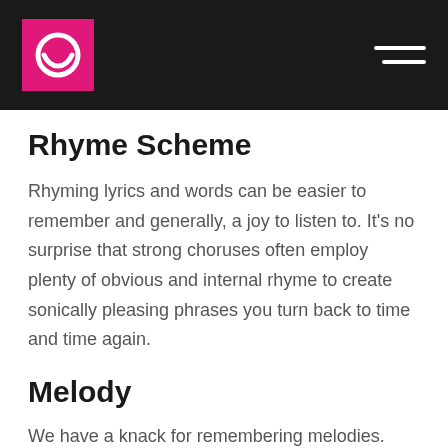e [logo] [hamburger menu]
Rhyme Scheme
Rhyming lyrics and words can be easier to remember and generally, a joy to listen to. It's no surprise that strong choruses often employ plenty of obvious and internal rhyme to create sonically pleasing phrases you turn back to time and time again.
Melody
We have a knack for remembering melodies. Even if a chorus has the same chord progression as the pre-chorus, or